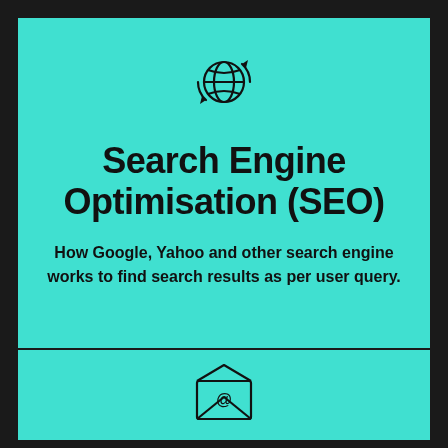[Figure (illustration): Globe icon with circular arrows around it, line art style]
Search Engine Optimisation (SEO)
How Google, Yahoo and other search engine works to find search results as per user query.
[Figure (illustration): Email envelope icon with @ symbol on letter, open envelope with flap up, line art style]